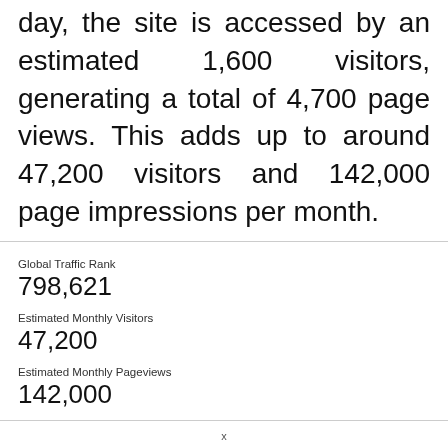day, the site is accessed by an estimated 1,600 visitors, generating a total of 4,700 page views. This adds up to around 47,200 visitors and 142,000 page impressions per month.
| Metric | Value |
| --- | --- |
| Global Traffic Rank | 798,621 |
| Estimated Monthly Visitors | 47,200 |
| Estimated Monthly Pageviews | 142,000 |